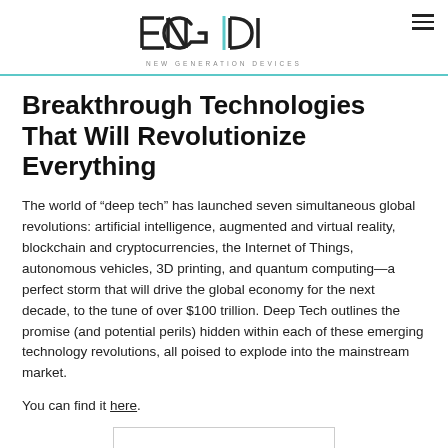ENGIDI — NEW GENERATION DEVICES
Breakthrough Technologies That Will Revolutionize Everything
The world of “deep tech” has launched seven simultaneous global revolutions: artificial intelligence, augmented and virtual reality, blockchain and cryptocurrencies, the Internet of Things, autonomous vehicles, 3D printing, and quantum computing—a perfect storm that will drive the global economy for the next decade, to the tune of over $100 trillion. Deep Tech outlines the promise (and potential perils) hidden within each of these emerging technology revolutions, all poised to explode into the mainstream market.
You can find it here.
[Figure (other): Partial image placeholder at bottom of page]